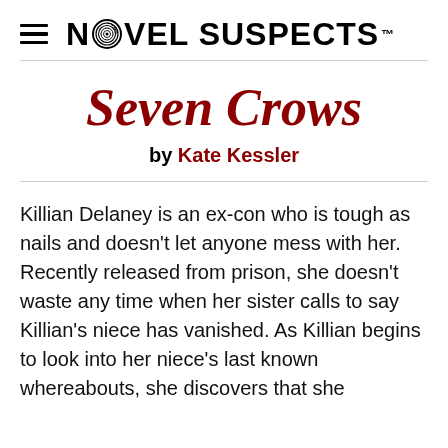NOVEL SUSPECTS™
Seven Crows
by Kate Kessler
Killian Delaney is an ex-con who is tough as nails and doesn't let anyone mess with her. Recently released from prison, she doesn't waste any time when her sister calls to say Killian's niece has vanished. As Killian begins to look into her niece's last known whereabouts, she discovers that she